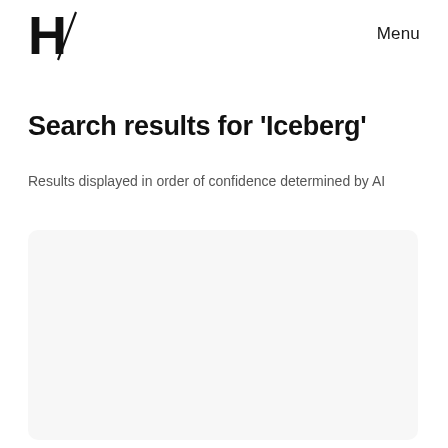H/ Menu
Search results for 'Iceberg'
Results displayed in order of confidence determined by AI
[Figure (other): Empty rounded card/box, light gray background, representing a search result placeholder]